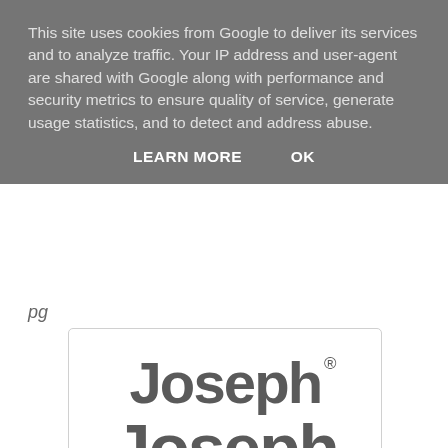This site uses cookies from Google to deliver its services and to analyze traffic. Your IP address and user-agent are shared with Google along with performance and security metrics to ensure quality of service, generate usage statistics, and to detect and address abuse.
LEARN MORE   OK
pg
[Figure (logo): Joseph Joseph brand logo in grey text on white background with registered trademark symbol]
One of my favourite kitchen gadgets is my pink Joseph Joseph 'Pie' timer. I use timers a lot because of cooking and baking, and this is the only one which hasn't bit the dust after a couple of months. A year on and we're still going strong. When they asked me to review some of their new collection, I was rather excited, and I had an idea.